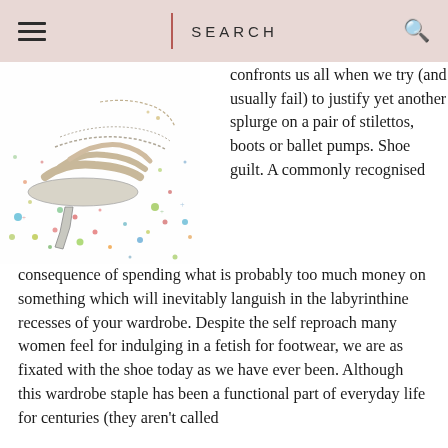SEARCH
[Figure (illustration): Illustrated high-heel stiletto shoes with colorful confetti dots scattered around them]
confronts us all when we try (and usually fail) to justify yet another splurge on a pair of stilettos, boots or ballet pumps. Shoe guilt. A commonly recognised consequence of spending what is probably too much money on something which will inevitably languish in the labyrinthine recesses of your wardrobe. Despite the self reproach many women feel for indulging in a fetish for footwear, we are as fixated with the shoe today as we have ever been. Although this wardrobe staple has been a functional part of everyday life for centuries (they aren't called